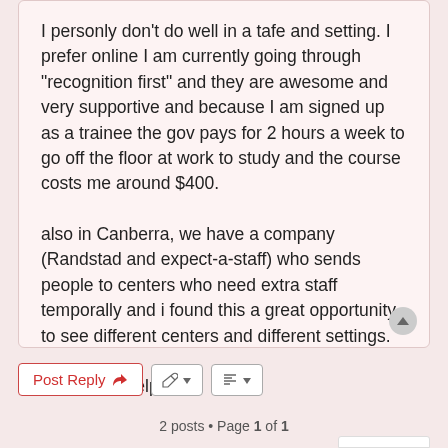I personly don't do well in a tafe and setting. I prefer online I am currently going through "recognition first" and they are awesome and very supportive and because I am signed up as a trainee the gov pays for 2 hours a week to go off the floor at work to study and the course costs me around $400.

also in Canberra, we have a company (Randstad and expect-a-staff) who sends people to centers who need extra staff temporally and i found this a great opportunity to see different centers and different settings.

i hope this helps
2 posts • Page 1 of 1